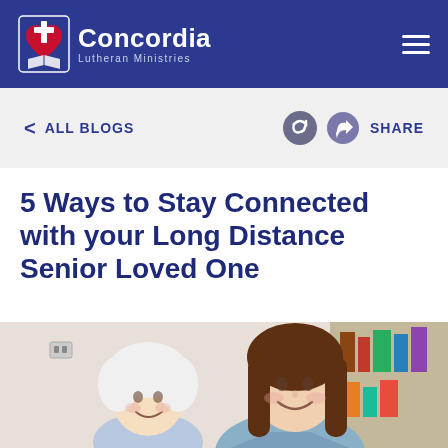Concordia Lutheran Ministries
< ALL BLOGS
SHARE
5 Ways to Stay Connected with your Long Distance Senior Loved One
[Figure (photo): An elderly woman with white hair and a younger woman with long brown hair sitting together, smiling, with bookshelves in the background.]